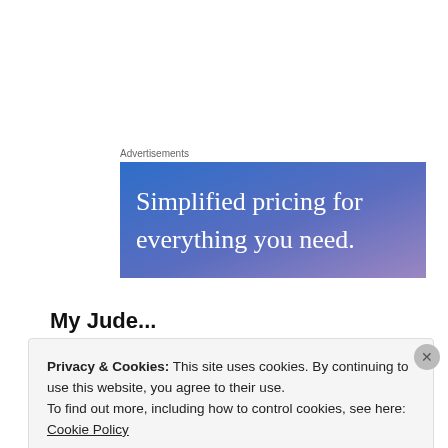Advertisements
[Figure (illustration): Advertisement banner with gradient blue-purple background and white serif text reading 'Simplified pricing for everything you need.']
My Jude...
Privacy & Cookies: This site uses cookies. By continuing to use this website, you agree to their use.
To find out more, including how to control cookies, see here: Cookie Policy
Close and accept